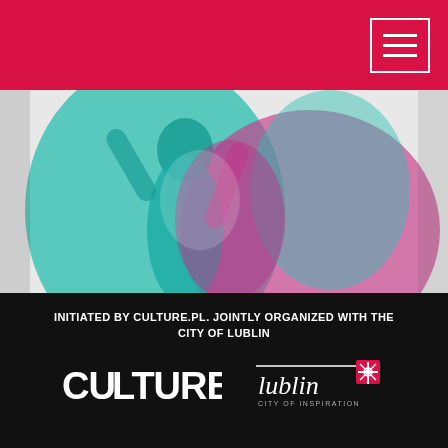[Figure (photo): Dance performance photo showing a dancer in teal and magenta/pink tones with arms raised against light background]
Choreographic Territories competition for creating a dance performance inspired by Pola Nireńska
INITIATED BY CULTURE.PL. JOINTLY ORGANIZED WITH THE CITY OF LUBLIN
[Figure (logo): CULTURE.PL logo in white bold text]
[Figure (logo): Lublin City of Inspiration logo in white]